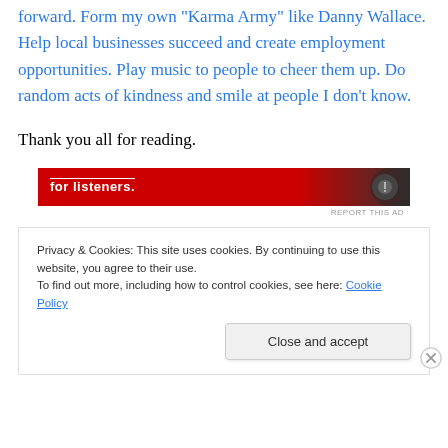forward. Form my own "Karma Army" like Danny Wallace. Help local businesses succeed and create employment opportunities. Play music to people to cheer them up. Do random acts of kindness and smile at people I don't know.
Thank you all for reading.
[Figure (other): Red advertisement banner with white text 'for listeners.' and a dark icon on the right side]
REPORT THIS AD
Privacy & Cookies: This site uses cookies. By continuing to use this website, you agree to their use. To find out more, including how to control cookies, see here: Cookie Policy